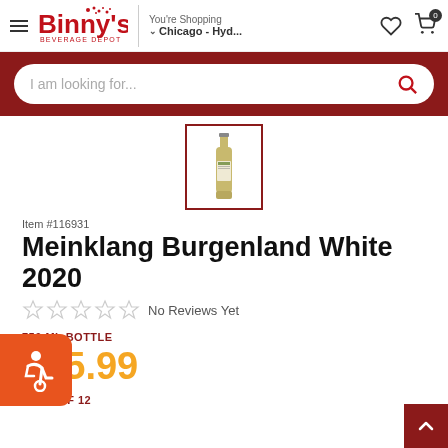Binny's Beverage Depot — You're Shopping Chicago - Hyd...
[Figure (screenshot): Search bar with placeholder text 'I am looking for...' and red search icon, on dark red background]
[Figure (photo): Small thumbnail of a wine bottle (Meinklang Burgenland White 2020) with dark red border frame]
Item #116931
Meinklang Burgenland White 2020
No Reviews Yet
750 ML BOTTLE
$15.99
CASE OF 12